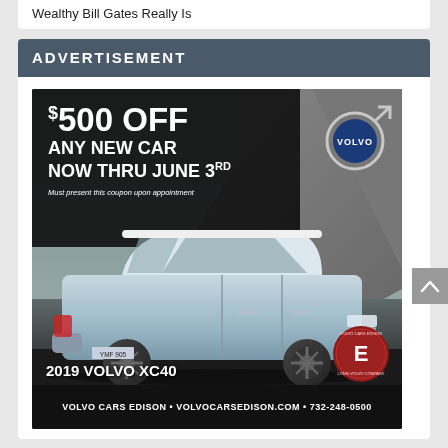Wealthy Bill Gates Really Is
ADVERTISEMENT
[Figure (photo): Volvo Cars Edison advertisement: $500 OFF ANY NEW CAR NOW THRU JUNE 3RD. Must present this coupon upon appointment. Shows a light blue 2019 Volvo XC40 SUV. Volvo logo in top right. Edison dealer badge bottom right. Bottom bar: VOLVO CARS EDISON • VOLVOCARSEDISON.COM • 732-248-0500]